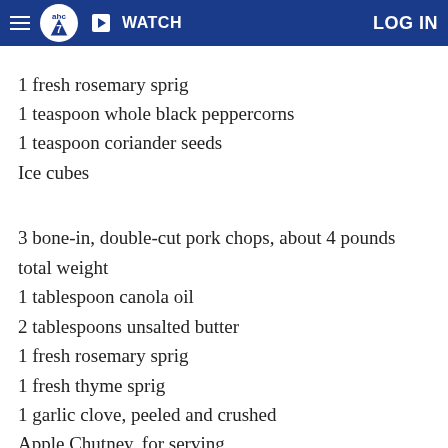abc7 | WATCH | LOG IN
1 fresh rosemary sprig
1 teaspoon whole black peppercorns
1 teaspoon coriander seeds
Ice cubes
3 bone-in, double-cut pork chops, about 4 pounds total weight
1 tablespoon canola oil
2 tablespoons unsalted butter
1 fresh rosemary sprig
1 fresh thyme sprig
1 garlic clove, peeled and crushed
Apple Chutney, for serving
Procedures